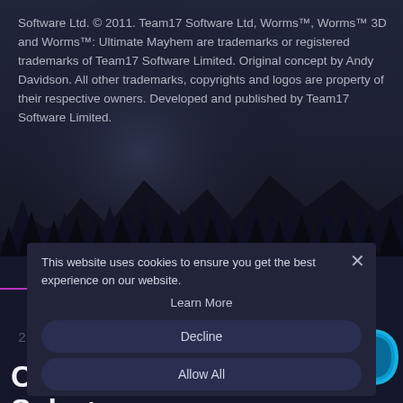Software Ltd. © 2011. Team17 Software Ltd, Worms™, Worms™ 3D and Worms™: Ultimate Mayhem are trademarks or registered trademarks of Team17 Software Limited. Original concept by Andy Davidson. All other trademarks, copyrights and logos are property of their respective owners. Developed and published by Team17 Software Limited.
[Figure (screenshot): Dark fantasy landscape with forest silhouettes against a moody dark sky, forming the background of a gaming website.]
News & Updates
2022.08.18
Christmas in August Sale +
This website uses cookies to ensure you get the best experience on our website.
Learn More
Decline
Allow All